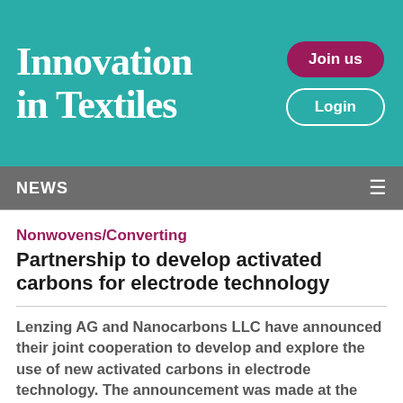Innovation in Textiles
NEWS
Nonwovens/Converting
Partnership to develop activated carbons for electrode technology
Lenzing AG and Nanocarbons LLC have announced their joint cooperation to develop and explore the use of new activated carbons in electrode technology. The announcement was made at the 22nd annual International Seminar on Double Layer Capacitors in December.